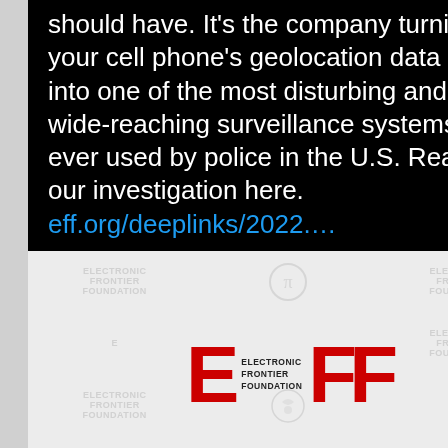should have. It's the company turning your cell phone's geolocation data into one of the most disturbing and wide-reaching surveillance systems ever used by police in the U.S. Read our investigation here. eff.org/deeplinks/2022….
[Figure (logo): Electronic Frontier Foundation (EFF) logo in red on a tiled gray background showing the EFF name and logo repeated]
eff.org
Inside Fog Data Science, the Secretive Company …
16 comments, 836 likes